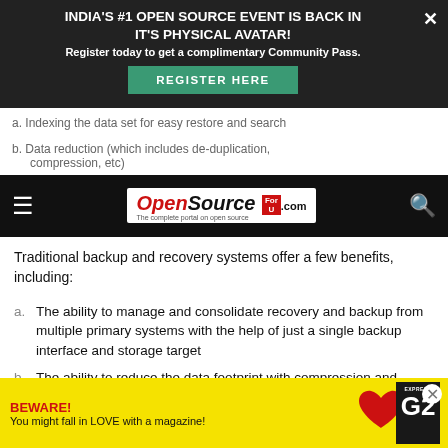[Figure (screenshot): Dark advertisement banner: 'INDIA'S #1 OPEN SOURCE EVENT IS BACK IN IT'S PHYSICAL AVATAR!' with Register Here button]
[Figure (logo): OpenSource For U .com logo in navbar]
Traditional backup and recovery systems offer a few benefits, including:
a. The ability to manage and consolidate recovery and backup from multiple primary systems with the help of just a single backup interface and storage target
b. The ability to reduce the data footprint with compression and global de-duplication
c. Applica... when
[Figure (screenshot): Yellow bottom ad: BEWARE! You might fall in LOVE with a magazine! with Express magazine image]